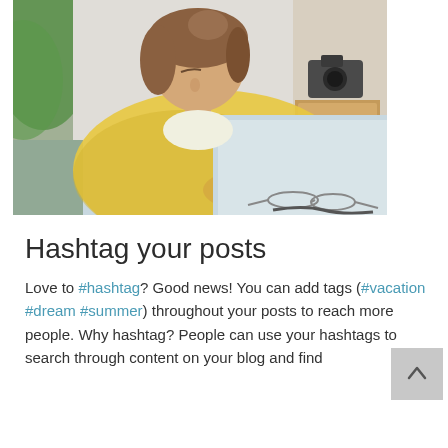[Figure (photo): A woman in a yellow sweater looking down at a tablet/iPad on a desk, with glasses nearby, a plant in the background, and a camera on a shelf]
Hashtag your posts
Love to #hashtag? Good news! You can add tags (#vacation #dream #summer) throughout your posts to reach more people. Why hashtag? People can use your hashtags to search through content on your blog and find